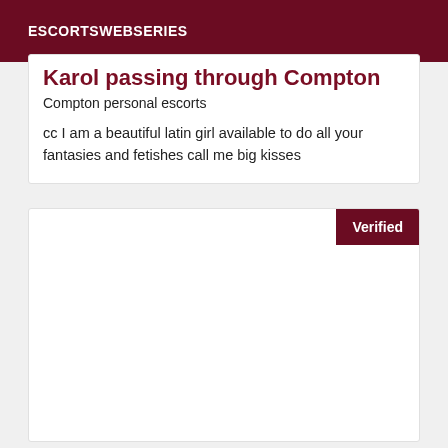ESCORTSWEBSERIES
Karol passing through Compton
Compton personal escorts
cc I am a beautiful latin girl available to do all your fantasies and fetishes call me big kisses
[Figure (other): White card area with a Verified badge in dark red at the top right corner]